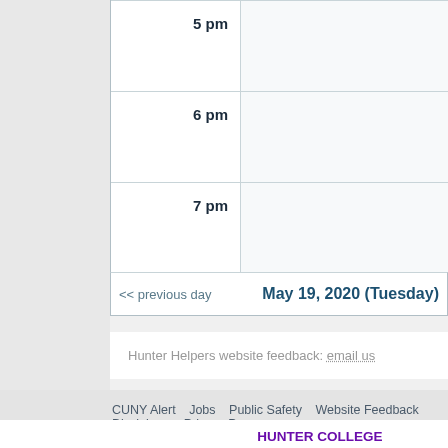| Time | Events |
| --- | --- |
| 5 pm |  |
| 6 pm |  |
| 7 pm |  |
<< previous day       May 19, 2020 (Tuesday)
Hunter Helpers website feedback: email us
CUNY Alert   Jobs   Public Safety   Website Feedback   Disclaimer   Privacy P...
HUNTER COLLEGE
695 Park Ave
NY, NY 10065
212.772.4000